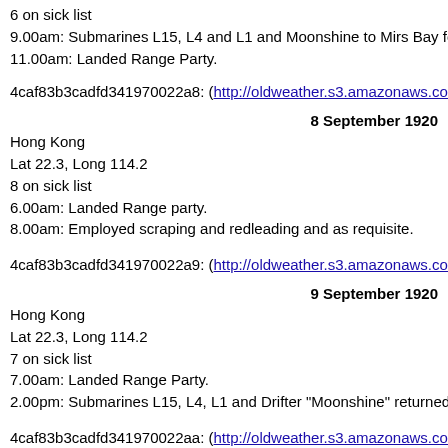6 on sick list
9.00am: Submarines L15, L4 and L1 and Moonshine to Mirs Bay for e
11.00am: Landed Range Party.
4caf83b3cadfd341970022a8: (http://oldweather.s3.amazonaws.com/A
8 September 1920
Hong Kong
Lat 22.3, Long 114.2
8 on sick list
6.00am: Landed Range party.
8.00am: Employed scraping and redleading and as requisite.
4caf83b3cadfd341970022a9: (http://oldweather.s3.amazonaws.com/A
9 September 1920
Hong Kong
Lat 22.3, Long 114.2
7 on sick list
7.00am: Landed Range Party.
2.00pm: Submarines L15, L4, L1 and Drifter "Moonshine" returned fro
4caf83b3cadfd341970022aa: (http://oldweather.s3.amazonaws.com/A
10 September 1920
Hong Kong
Lat 22.3, Long 114.2
5 on sick list
6.00am: Landed Range Party.